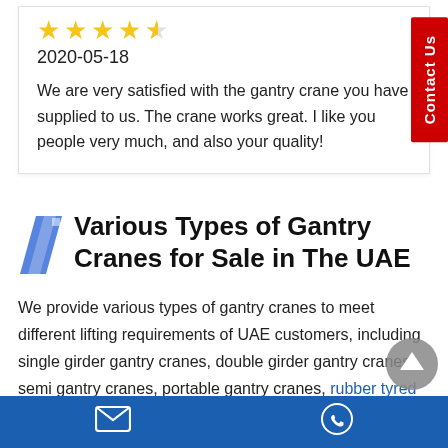[Figure (other): 4.5 star rating (4 full yellow stars and 1 half star)]
2020-05-18
We are very satisfied with the gantry crane you have supplied to us. The crane works great. I like you people very much, and also your quality!
Various Types of Gantry Cranes for Sale in The UAE
We provide various types of gantry cranes to meet different lifting requirements of UAE customers, including single girder gantry cranes, double girder gantry cranes, semi gantry cranes, portable gantry cranes, rubber tyred gantry cranes and more.
We also offer a wide range of after-sales service to customers, including
Contact icons footer bar